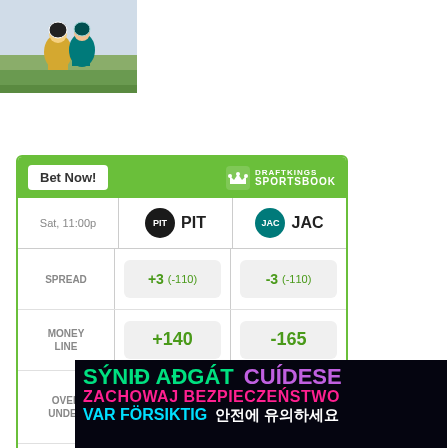[Figure (photo): NFL football action photo showing players in game, one in yellow/gold uniform, another in teal uniform]
|  | PIT | JAC |
| --- | --- | --- |
| Sat, 11:00p | PIT | JAC |
| SPREAD | +3 (-110) | -3 (-110) |
| MONEY LINE | +140 | -165 |
| OVER UNDER | > 42 (-110) | < 42 (-110) |
Odds/Lines subject to change. See draftkings.com for details.
[Figure (infographic): Multilingual responsible gambling banner with text in multiple languages: SÝNIĎ AÐGÁT (green), CUÍDESE (purple), ZACHOWAJ BEZPIECZEŃSTWO (pink/magenta), VAR FÖRSIKTIG (cyan), Korean text (white)]